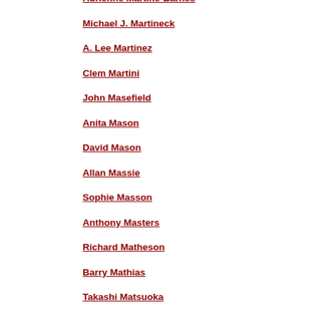Adrienne Martine-Barnes
Michael J. Martineck
A. Lee Martinez
Clem Martini
John Masefield
Anita Mason
David Mason
Allan Massie
Sophie Masson
Anthony Masters
Richard Matheson
Barry Mathias
Takashi Matsuoka
John Matthews